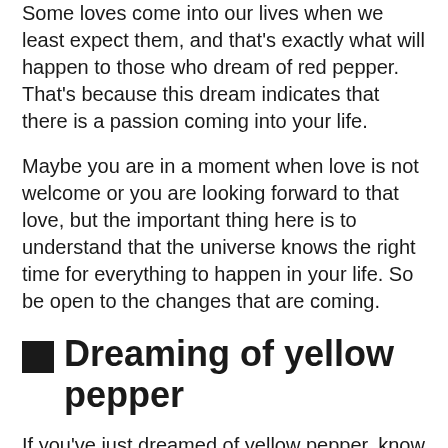Some loves come into our lives when we least expect them, and that's exactly what will happen to those who dream of red pepper. That's because this dream indicates that there is a passion coming into your life.
Maybe you are in a moment when love is not welcome or you are looking forward to that love, but the important thing here is to understand that the universe knows the right time for everything to happen in your life. So be open to the changes that are coming.
Dreaming of yellow pepper
If you've just dreamed of yellow pepper, know that it's time to have a dialogue with